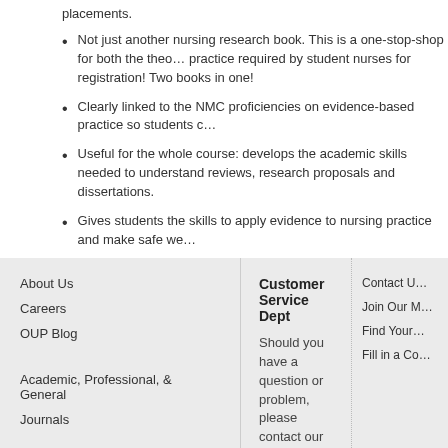placements.
Not just another nursing research book. This is a one-stop-shop for both the theory and practice required by student nurses for registration! Two books in one!
Clearly linked to the NMC proficiencies on evidence-based practice so students can…
Useful for the whole course: develops the academic skills needed to understand reviews, research proposals and dissertations.
Gives students the skills to apply evidence to nursing practice and make safe we…
Provides easy to follow guidelines on critiquing the most utilised sources of health… primary research articles.
A dedicated Online Resource Centre provides further helpful tips, exercises and…
About Us | Careers | OUP Blog | Academic, Professional, & General | Journals | Customer Service Dept | Contact Us | Join Our M… | Find Your… | Fill in a Co… | Email us
Should you have a question or problem, please contact our Customer Service Department. Monday - Friday, 0830 - 1700 (UK time). Email us